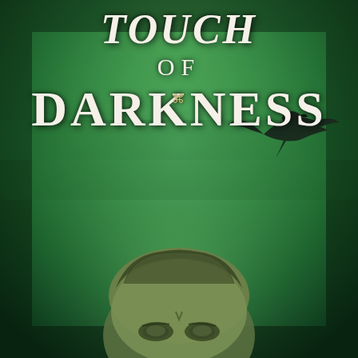[Figure (illustration): Book cover for 'Touch of Darkness' featuring a green atmospheric background with a man's face looking upward from the bottom of the cover and a black bird (crow/raven) silhouette in the upper right. The title text 'Touch of Darkness' appears at the top in large serif typography with white/cream lettering.]